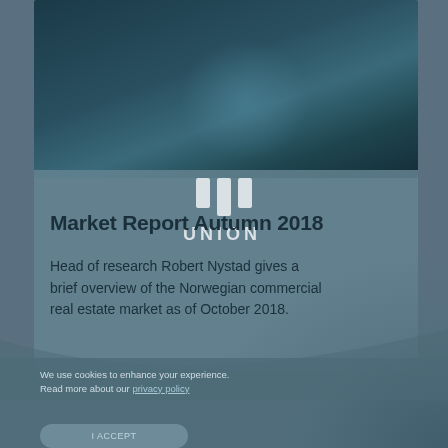[Figure (photo): Dark teal/blue blurred background image occupying the upper portion of the page, with a Union logo watermark overlay in white]
Market Report Autumn 2018
Head of research Robert Nystad gives a brief overview of the Norwegian commercial real estate market as of October 2018.
[Figure (logo): Union logo in white, consisting of a stylized W/U symbol above the text UNION]
We use cookies to enhance your experience.
Read more about our privacy policy
I ACCEPT